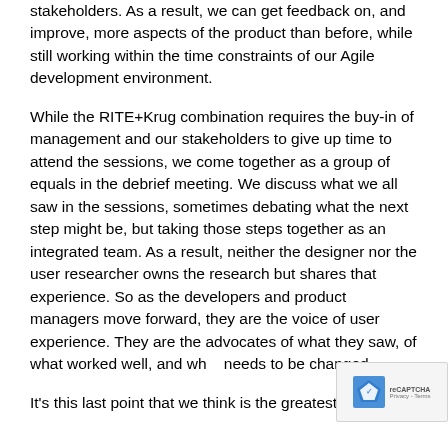stakeholders. As a result, we can get feedback on, and improve, more aspects of the product than before, while still working within the time constraints of our Agile development environment.
While the RITE+Krug combination requires the buy-in of management and our stakeholders to give up time to attend the sessions, we come together as a group of equals in the debrief meeting. We discuss what we all saw in the sessions, sometimes debating what the next step might be, but taking those steps together as an integrated team. As a result, neither the designer nor the user researcher owns the research but shares that experience. So as the developers and product managers move forward, they are the voice of user experience. They are the advocates of what they saw, of what worked well, and what needs to be changed.
It's this last point that we think is the greatest